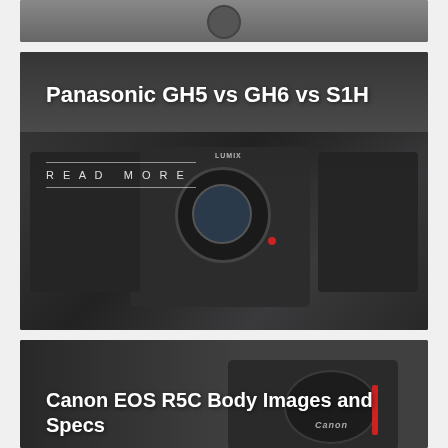[Figure (photo): Top portion of a dark camera image card, cropped at top]
[Figure (photo): Panasonic GH5 vs GH6 vs S1H camera comparison article card with multiple Lumix cameras photographed from above on dark background]
Panasonic GH5 vs GH6 vs S1H
Read More
[Figure (photo): Canon EOS R5C article card with camera body on dark background, partially visible]
Canon EOS R5C Body Images and Specs